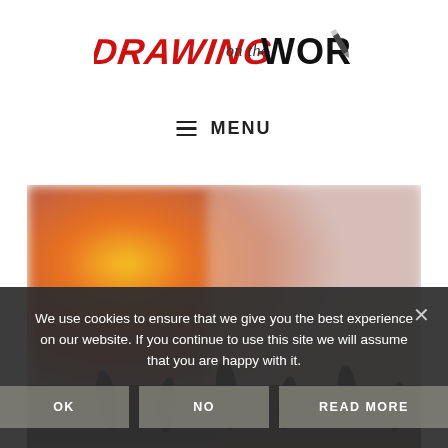[Figure (logo): Drawing on the Word logo — 'DRAWING' in bold red graffiti-style lettering, 'ON THE' in black handwritten script, 'WORD' in bold black block letters, with a pencil icon at the right end]
≡ MENU
[Figure (photo): Blurred concert/crowd photo with warm orange-yellow glow on the left side and lighter hazy tones on the right, silhouettes of raised hands visible at the bottom]
We use cookies to ensure that we give you the best experience on our website. If you continue to use this site we will assume that you are happy with it.